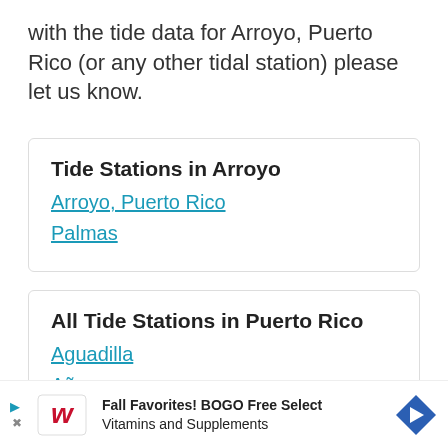with the tide data for Arroyo, Puerto Rico (or any other tidal station) please let us know.
Tide Stations in Arroyo
Arroyo, Puerto Rico
Palmas
All Tide Stations in Puerto Rico
Aguadilla
Añasco
Arroyo
Bay...
Ca...